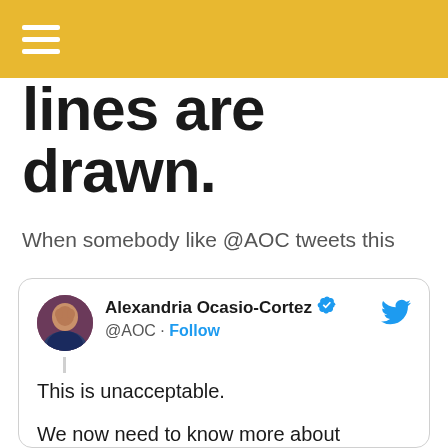≡
lines are drawn.
When somebody like @AOC tweets this
[Figure (screenshot): Embedded tweet from Alexandria Ocasio-Cortez (@AOC) with verified badge and Follow button. Tweet text: 'This is unacceptable. We now need to know more about @RobinhoodApp's decision to block retail investors from purchasing stock while hedge funds are freely able to trade the stock as they see fit. As a member of the Financial']